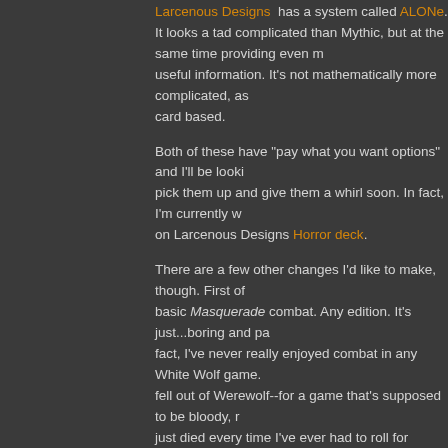Larcenous Designs has a system called ALONe. It looks a tad complicated than Mythic, but at the same time providing even more useful information. It's not mathematically more complicated, as it's card based.
Both of these have "pay what you want options" and I'll be looking to pick them up and give them a whirl soon. In fact, I'm currently working on Larcenous Designs Horror deck.
There are a few other changes I'd like to make, though. First off, basic Masquerade combat. Any edition. It's just...boring and painful. In fact, I've never really enjoyed combat in any White Wolf game. I even fell out of Werewolf--for a game that's supposed to be bloody, rage just died every time I've ever had to roll for initiative. So, I'll be using from the 1st Ed Storytellers Handbook. I've talked about it before
I also want to change around how backgrounds work. I haven't but I do recall liking how the LARP books handled backgrounds. get? The Original Masquerade? Laws of Night? Laws of Night ( from By Night Studios?
[Figure (illustration): Chicago by Night book cover with purple and green tones, stylized title text in pink/magenta]
I also need to make some tweaks to for the initial adventure idea. Chica "random events" in the appendix, an